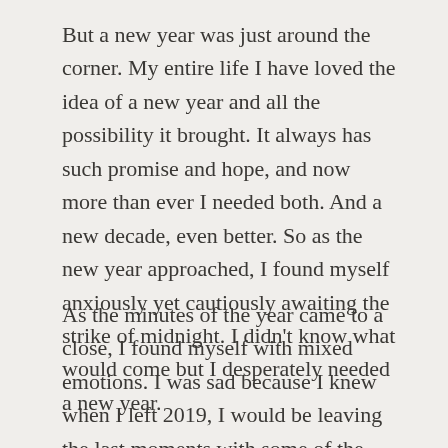But a new year was just around the corner. My entire life I have loved the idea of a new year and all the possibility it brought. It always has such promise and hope, and now more than ever I needed both. And a new decade, even better. So as the new year approached, I found myself anxiously yet cautiously awaiting the strike of midnight. I didn't know what would come but I desperately needed a new year.
As the minutes of the year came to a close, I found myself with mixed emotions. I was sad because I knew when I left 2019, I would be leaving the last moments with some of the most precious people to me. I was heartbroken thinking of all the hard times. Yet I found myself filling with pride